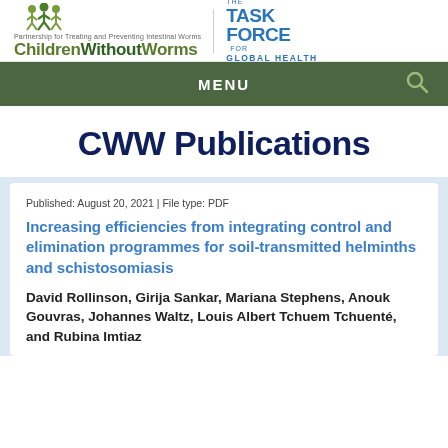[Figure (logo): ChildrenWithoutWorms logo with tagline 'Partnership for Treating and Preventing Intestinal Worms' on the left, and 'The Task Force for Global Health' logo on the right]
MENU
CWW Publications
Published: August 20, 2021 | File type: PDF
Increasing efficiencies from integrating control and elimination programmes for soil-transmitted helminths and schistosomiasis
David Rollinson, Girija Sankar, Mariana Stephens, Anouk Gouvras, Johannes Waltz, Louis Albert Tchuem Tchuenté, and Rubina Imtiaz